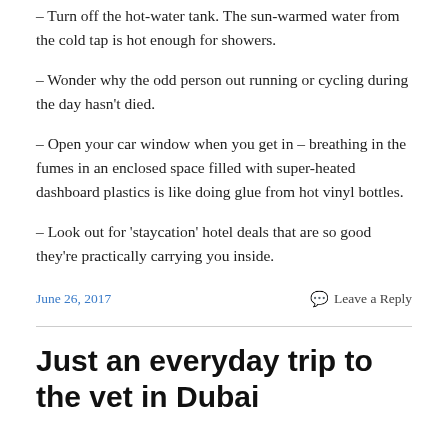– Turn off the hot-water tank. The sun-warmed water from the cold tap is hot enough for showers.
– Wonder why the odd person out running or cycling during the day hasn't died.
– Open your car window when you get in – breathing in the fumes in an enclosed space filled with super-heated dashboard plastics is like doing glue from hot vinyl bottles.
– Look out for 'staycation' hotel deals that are so good they're practically carrying you inside.
June 26, 2017    Leave a Reply
Just an everyday trip to the vet in Dubai